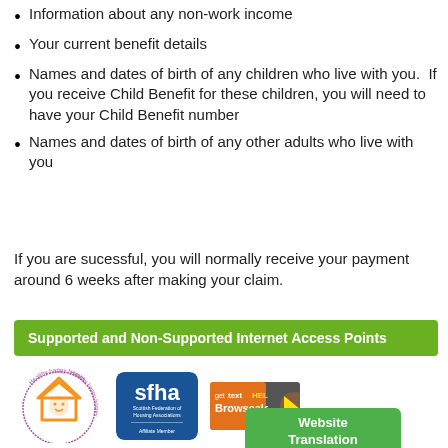Information about any non-work income
Your current benefit details
Names and dates of birth of any children who live with you.  If you receive Child Benefit for these children, you will need to have your Child Benefit number
Names and dates of birth of any other adults who live with you
If you are sucessful, you will normally receive your payment around 6 weeks after making your claim.
Supported and Non-Supported Internet Access Points
[Figure (logo): Healthy Happy Homes circular logo with orange house outline and smiley face, purple circular text]
[Figure (logo): SFHA Scottish Federation of Housing Associations Affiliate Member logo, blue background]
[Figure (logo): Get TextHELP Browsealoud logo, orange and grey background with cursor icon]
[Figure (other): Website Translation green button]